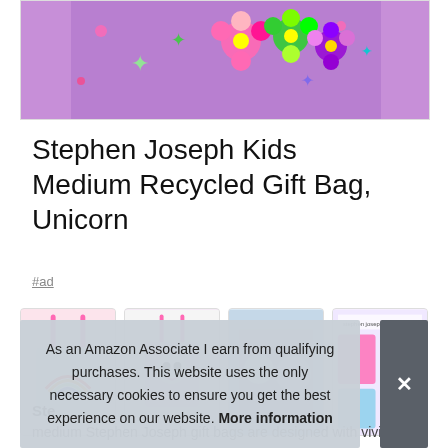[Figure (photo): Partial product image of a purple unicorn/floral themed gift bag on white background with border]
Stephen Joseph Kids Medium Recycled Gift Bag, Unicorn
#ad
[Figure (photo): Four product thumbnail images of colorful Stephen Joseph gift bags in a row]
Ste
medium Stephen Joseph gift bags are designed with vivid
As an Amazon Associate I earn from qualifying purchases. This website uses the only necessary cookies to ensure you get the best experience on our website. More information